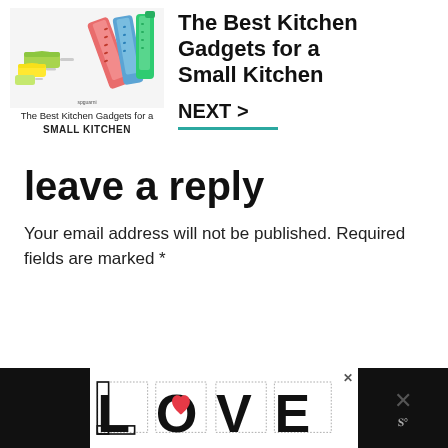[Figure (illustration): Book cover thumbnail showing colorful kitchen gadgets — measuring cups and a grater — with text 'The Best Kitchen Gadgets for a Small Kitchen' below the image]
The Best Kitchen Gadgets for a Small Kitchen
NEXT >
leave a reply
Your email address will not be published. Required fields are marked *
[Figure (illustration): Advertisement banner at the bottom showing LOVE text art in black and white with red heart accent, flanked by dark blocks on left and right]